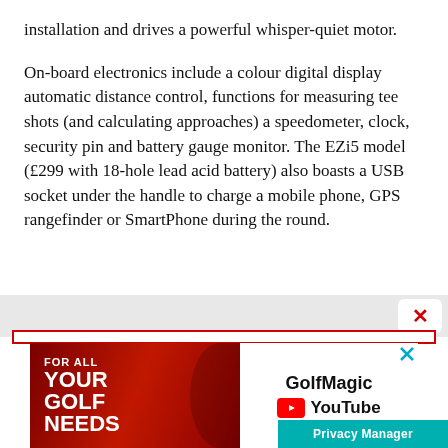installation and drives a powerful whisper-quiet motor.
On-board electronics include a colour digital display automatic distance control, functions for measuring tee shots (and calculating approaches) a speedometer, clock, security pin and battery gauge monitor. The EZi5 model (£299 with 18-hole lead acid battery) also boasts a USB socket under the handle to charge a mobile phone, GPS rangefinder or SmartPhone during the round.
[Figure (screenshot): Advertisement banner for GolfMagic YouTube channel. Left side has red background with bold white text reading FOR ALL YOUR GOLF NEEDS. Right side shows GolfMagic YouTube branding on white background. An X close button is visible in the top right of the ad area.]